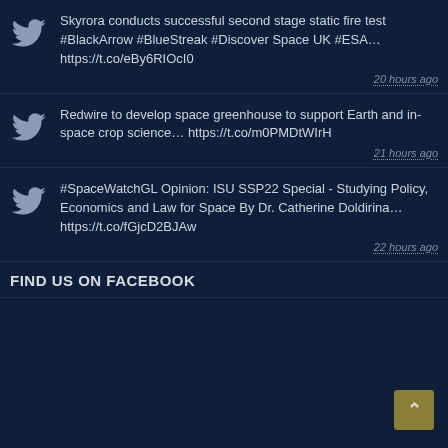Skyrora conducts successful second stage static fire test #BlackArrow #BlueStreak #Discover Space UK #ESA… https://t.co/eBy6RIOcI0 — 20 hours ago
Redwire to develop space greenhouse to support Earth and in-space crop science… https://t.co/m0PMDtWIrH — 21 hours ago
#SpaceWatchGL Opinion: ISU SSP22 Special - Studying Policy, Economics and Law for Space By Dr. Catherine Doldirina… https://t.co/fGjcD2BJAw — 22 hours ago
FIND US ON FACEBOOK